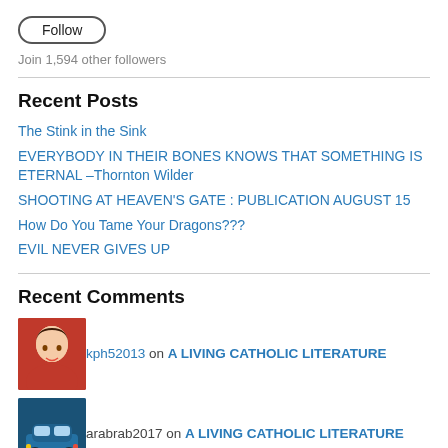Follow
Join 1,594 other followers
Recent Posts
The Stink in the Sink
EVERYBODY IN THEIR BONES KNOWS THAT SOMETHING IS ETERNAL –Thornton Wilder
SHOOTING AT HEAVEN'S GATE : PUBLICATION AUGUST 15
How Do You Tame Your Dragons???
EVIL NEVER GIVES UP
Recent Comments
kph52013 on A LIVING CATHOLIC LITERATURE
arabrab2017 on A LIVING CATHOLIC LITERATURE